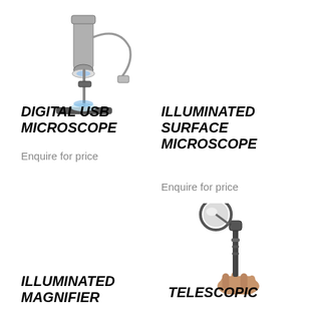[Figure (photo): Digital USB microscope on a stand with light and USB cable]
DIGITAL USB MICROSCOPE
Enquire for price
ILLUMINATED SURFACE MICROSCOPE
Enquire for price
[Figure (photo): Hand holding a telescopic inspection mirror/magnifier on an extendable handle]
ILLUMINATED MAGNIFIER
TELESCOPIC